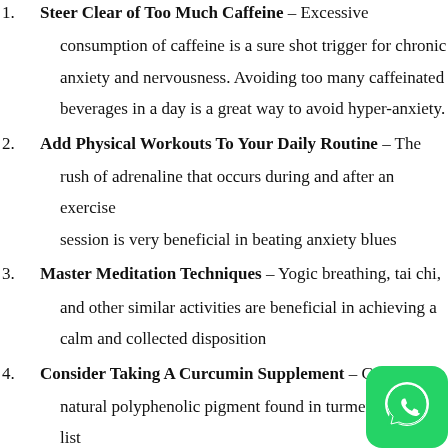Steer Clear of Too Much Caffeine – Excessive consumption of caffeine is a sure shot trigger for chronic anxiety and nervousness. Avoiding too many caffeinated beverages in a day is a great way to avoid hyper-anxiety.
Add Physical Workouts To Your Daily Routine – The rush of adrenaline that occurs during and after an exercise session is very beneficial in beating anxiety blues
Master Meditation Techniques – Yogic breathing, tai chi, and other similar activities are beneficial in achieving a calm and collected disposition
Consider Taking A Curcumin Supplement – Curcumin, a natural polyphenolic pigment found in turmeric, tops the list of natural remedies that alleviate depression and stress by countering stress-related biological processes. Curcumin's